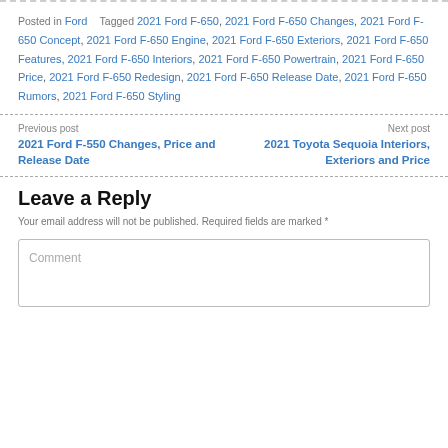Posted in Ford   Tagged 2021 Ford F-650, 2021 Ford F-650 Changes, 2021 Ford F-650 Concept, 2021 Ford F-650 Engine, 2021 Ford F-650 Exteriors, 2021 Ford F-650 Features, 2021 Ford F-650 Interiors, 2021 Ford F-650 Powertrain, 2021 Ford F-650 Price, 2021 Ford F-650 Redesign, 2021 Ford F-650 Release Date, 2021 Ford F-650 Rumors, 2021 Ford F-650 Styling
Previous post: 2021 Ford F-550 Changes, Price and Release Date | Next post: 2021 Toyota Sequoia Interiors, Exteriors and Price
Leave a Reply
Your email address will not be published. Required fields are marked *
Comment